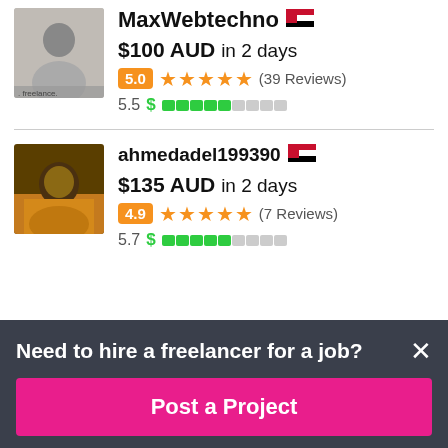MaxWebtechno 🇪🇬
$100 AUD in 2 days
5.0 ★★★★★ (39 Reviews)
5.5 $ [bar indicator]
ahmedadel199390 🇪🇬
$135 AUD in 2 days
4.9 ★★★★★ (7 Reviews)
5.7 $ [bar indicator]
Need to hire a freelancer for a job?
Post a Project